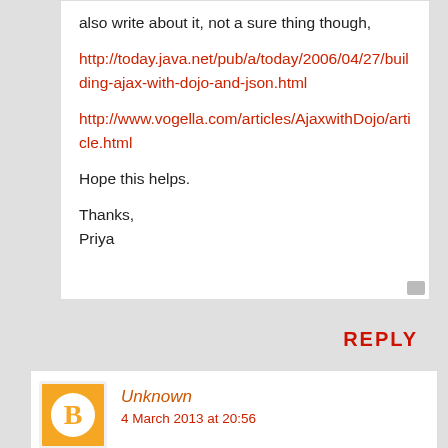also write about it, not a sure thing though,

http://today.java.net/pub/a/today/2006/04/27/building-ajax-with-dojo-and-json.html

http://www.vogella.com/articles/AjaxwithDojo/article.html

Hope this helps.

Thanks,
Priya
REPLY
Unknown
4 March 2013 at 20:56
How to pass the listvalues to jquery: